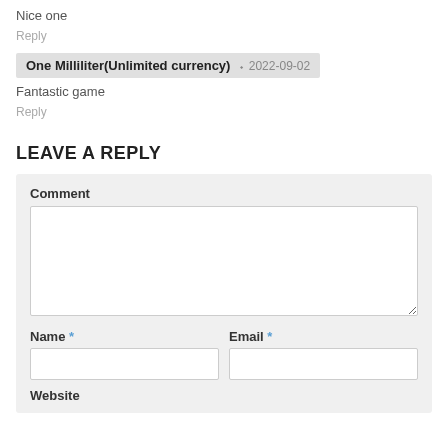Nice one
Reply
One Milliliter(Unlimited currency)  2022-09-02
Fantastic game
Reply
LEAVE A REPLY
Comment
Name *
Email *
Website